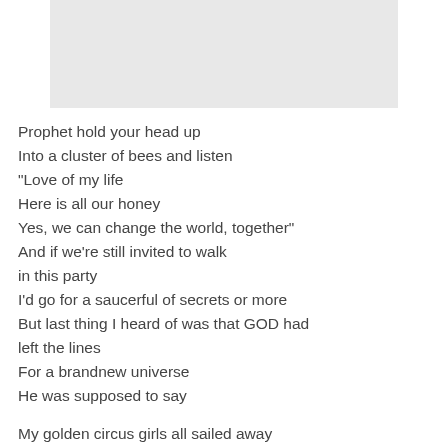[Figure (other): Gray rectangular image placeholder at the top of the page]
Prophet hold your head up
Into a cluster of bees and listen
"Love of my life
Here is all our honey
Yes, we can change the world, together"
And if we're still invited to walk
in this party
I'd go for a saucerful of secrets or more
But last thing I heard of was that GOD had
left the lines
For a brandnew universe
He was supposed to say

My golden circus girls all sailed away
The lion tamers are no longer due to play
Whoever breaks the seven seals and lets